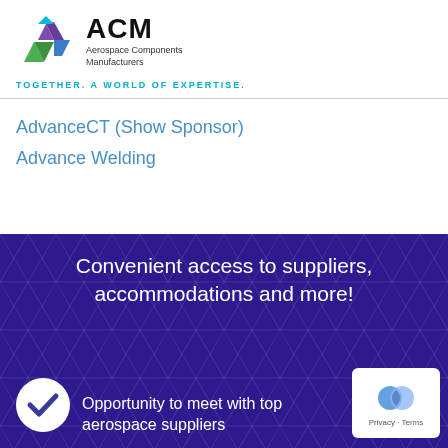[Figure (logo): ACM Aerospace Components Manufacturers logo with geometric arrow shapes in green, purple, and blue, alongside ACM text and full name]
TOGETHER. A WORLD OF EXPERTISE.
AdvanceCT (Show Sponsor)
Advance Welding
[Figure (infographic): Dark purple banner with triangle geometric pattern background, containing text 'Convenient access to suppliers, accommodations and more!' and a checkmark icon with text 'Opportunity to meet with top aerospace suppliers']